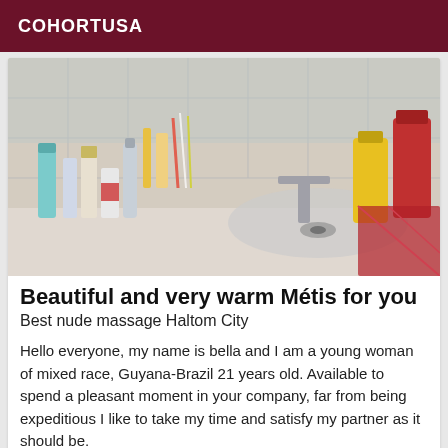COHORTUSA
[Figure (photo): Photo of a cluttered bathroom countertop with various bottles, containers, sprays, a faucet, and toiletries]
Beautiful and very warm Métis for you
Best nude massage Haltom City
Hello everyone, my name is bella and I am a young woman of mixed race, Guyana-Brazil 21 years old. Available to spend a pleasant moment in your company, far from being expeditious I like to take my time and satisfy my partner as it should be.
[Figure (photo): Partial photo of a person's face and upper body with light-colored hair]